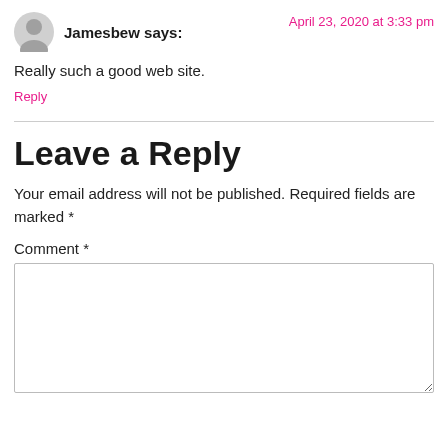Jamesbew says:
April 23, 2020 at 3:33 pm
Really such a good web site.
Reply
Leave a Reply
Your email address will not be published. Required fields are marked *
Comment *